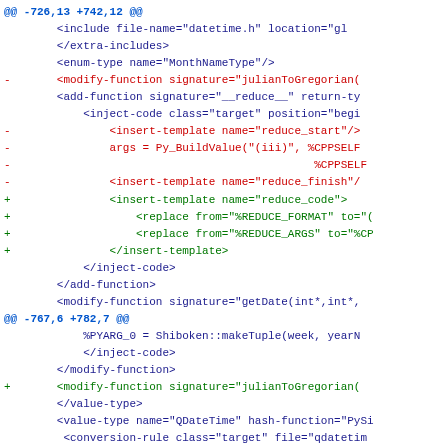Diff/patch code view showing XML and C++ code modifications in a version control diff format, with hunk headers, removed lines (red), added lines (green), and context lines (blue).